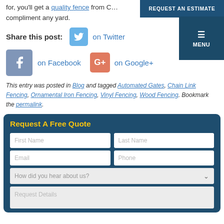for, you'll get a quality fence from C… compliment any yard.
REQUEST AN ESTIMATE
≡ MENU
Share this post: on Twitter on Facebook on Google+
This entry was posted in Blog and tagged Automated Gates, Chain Link Fencing, Ornamental Iron Fencing, Vinyl Fencing, Wood Fencing. Bookmark the permalink.
Request A Free Quote
First Name | Last Name | Email | Phone | How did you hear about us? | Request Details